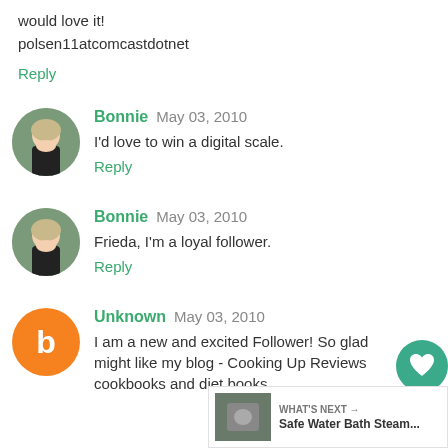would love it!
polsen11atcomcastdotnet
Reply
Bonnie May 03, 2010
I'd love to win a digital scale.
Reply
Bonnie May 03, 2010
Frieda, I'm a loyal follower.
Reply
Unknown May 03, 2010
I am a new and excited Follower! So glad might like my blog - Cooking Up Reviews cookbooks and diet books.